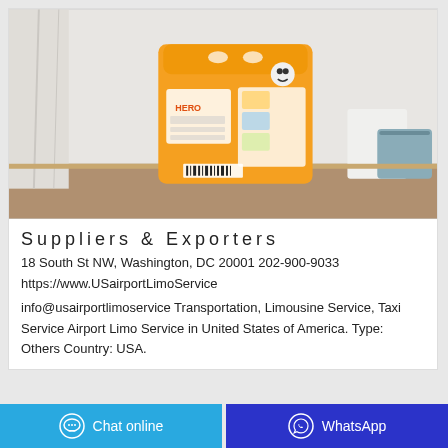[Figure (photo): Orange laundry detergent powder bag (brand: HERO) standing upright on a wooden table with white curtains and a blue basket in the background.]
Suppliers & Exporters
18 South St NW, Washington, DC 20001 202-900-9033
https://www.USairportLimoService
info@usairportlimoservice Transportation, Limousine Service, Taxi Service Airport Limo Service in United States of America. Type: Others Country: USA.
Chat online  WhatsApp